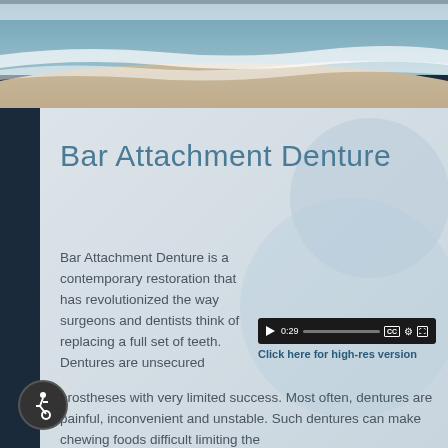[Figure (photo): Beach scene with ocean waves washing onto sandy shore, aerial/low angle view]
Bar Attachment Denture
Bar Attachment Denture is a contemporary restoration that has revolutionized the way surgeons and dentists think of replacing a full set of teeth. Dentures are unsecured prostheses with very limited success. Most often, dentures are painful, inconvenient and unstable. Such dentures can make chewing foods difficult limiting the
[Figure (screenshot): Video player bar showing play button, time 0:29, progress bar, CC button, settings gear icon, and fullscreen icon, with link text 'Click here for high-res version']